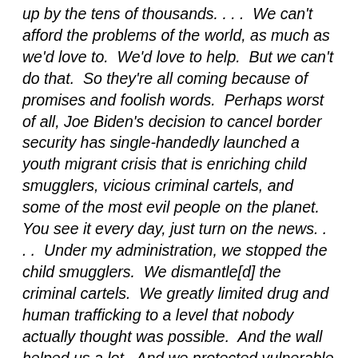up by the tens of thousands. . . .  We can't afford the problems of the world, as much as we'd love to.  We'd love to help.  But we can't do that.  So they're all coming because of promises and foolish words.  Perhaps worst of all, Joe Biden's decision to cancel border security has single-handedly launched a youth migrant crisis that is enriching child smugglers, vicious criminal cartels, and some of the most evil people on the planet.  You see it every day, just turn on the news. . . .  Under my administration, we stopped the child smugglers.  We dismantle[d] the criminal cartels.  We greatly limited drug and human trafficking to a level that nobody actually thought was possible.  And the wall helped us a lot.  And we protected vulnerable people from the ravages of dangerous predators.  And that's what they are dangerous, dangerous predators.  But the Biden administration has cut the [sic] protections, bringing in